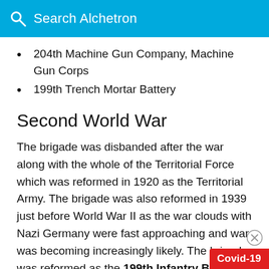Search Alchetron
204th Machine Gun Company, Machine Gun Corps
199th Trench Mortar Battery
Second World War
The brigade was disbanded after the war along with the whole of the Territorial Force which was reformed in 1920 as the Territorial Army. The brigade was also reformed in 1939 just before World War II as the war clouds with Nazi Germany were fast approaching and war was becoming increasingly likely. The brigade was reformed as the 199th Infantry Brigade and was aga… assigned to the 66th (East Lancashire) Division.